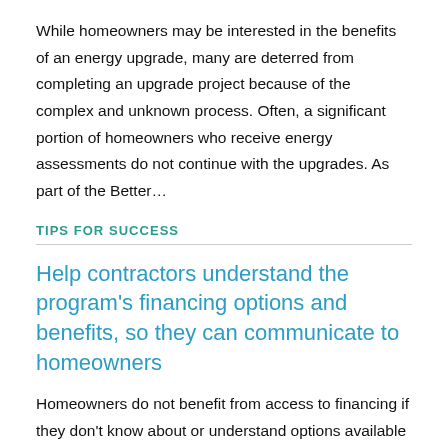While homeowners may be interested in the benefits of an energy upgrade, many are deterred from completing an upgrade project because of the complex and unknown process. Often, a significant portion of homeowners who receive energy assessments do not continue with the upgrades. As part of the Better...
TIPS FOR SUCCESS
Help contractors understand the program's financing options and benefits, so they can communicate to homeowners
Homeowners do not benefit from access to financing if they don't know about or understand options available to them. Contractors are often the primary transaction point for selling upgrades, and many programs have found that ongoing collaboration with contractors through sales training, regular